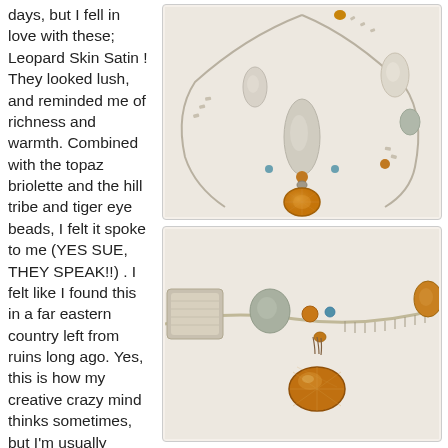days, but I fell in love with these; Leopard Skin Satin ! They looked lush, and reminded me of richness and warmth. Combined with the topaz briolette and the hill tribe and tiger eye beads, I felt it spoke to me (YES SUE, THEY SPEAK!!) . I felt like I found this in a far eastern country left from ruins long ago. Yes, this is how my creative crazy mind thinks sometimes, but I'm usually happy with
[Figure (photo): Close-up photo of a beaded necklace with silver/white seed beads, large pearl-like oval beads, small blue and amber beads, and a faceted amber/topaz teardrop pendant at the bottom, on a cream background.]
[Figure (photo): Close-up photo of the same beaded necklace showing silver coiled wire strand with shell, stone, amber and blue beads, and a faceted amber/topaz teardrop pendant, on a cream background.]